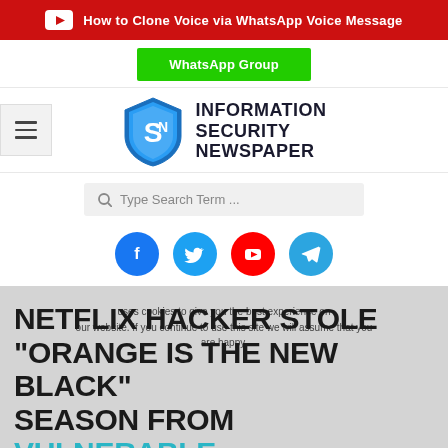[Figure (infographic): Red YouTube banner with white play button icon and text: How to Clone Voice via WhatsApp Voice Message]
[Figure (infographic): Green WhatsApp Group button]
[Figure (logo): Information Security Newspaper logo with blue shield and SN initials, with hamburger menu icon on left]
[Figure (infographic): Search bar with placeholder text: Type Search Term ...]
[Figure (infographic): Social media icons row: Facebook (blue), Twitter (blue), YouTube (red), Telegram (blue)]
NETFLIX HACKER STOLE "ORANGE IS THE NEW BLACK" SEASON FROM VULNERABLE